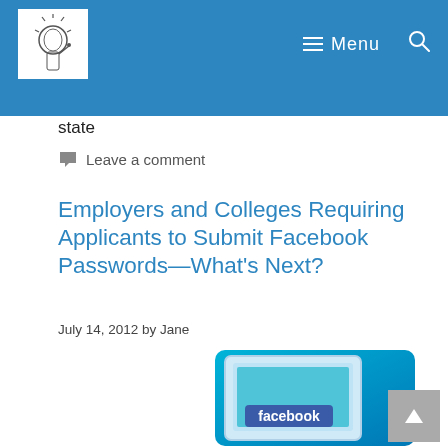Menu
state
Leave a comment
Employers and Colleges Requiring Applicants to Submit Facebook Passwords—What's Next?
July 14, 2012 by Jane
[Figure (photo): Facebook logo on a computer screen with teal/blue background]